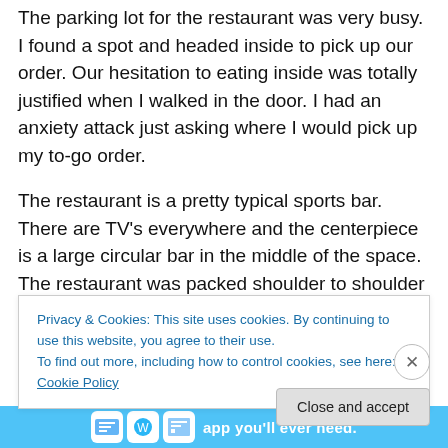The parking lot for the restaurant was very busy. I found a spot and headed inside to pick up our order. Our hesitation to eating inside was totally justified when I walked in the door. I had an anxiety attack just asking where I would pick up my to-go order.
The restaurant is a pretty typical sports bar. There are TV's everywhere and the centerpiece is a large circular bar in the middle of the space. The restaurant was packed shoulder to shoulder on a Friday afternoon. There was no spacing out tables and almost every seat at the bar was filled. They do take precautions for their staff who were all
Privacy & Cookies: This site uses cookies. By continuing to use this website, you agree to their use.
To find out more, including how to control cookies, see here: Cookie Policy
Close and accept
[Figure (infographic): Blue advertisement banner at the bottom with icons and text reading 'app you'll ever need.']